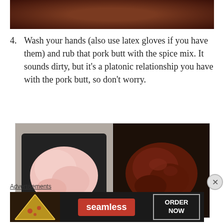[Figure (photo): Top portion of a bowl with dark spice/rub mixture, partially visible at top of page]
4. Wash your hands (also use latex gloves if you have them) and rub that pork butt with the spice mix. It sounds dirty, but it’s a platonic relationship you have with the pork butt, so don’t worry.
[Figure (photo): Two side-by-side photos: left shows a raw pork butt on a black tray; right shows the same pork butt coated in dark red spice rub on black plastic wrap]
Advertisements
[Figure (photo): Seamless food delivery advertisement banner showing pizza slices on the left, a red Seamless logo in the center, and an ORDER NOW button on the right, all on a dark background]